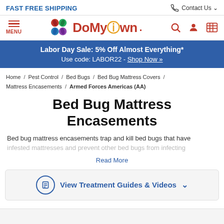FAST FREE SHIPPING
[Figure (logo): DoMyOwn logo with pest control leaf icons and yellow ribbon]
[Figure (infographic): Labor Day Sale promo banner: 5% Off Almost Everything*, Use code: LABOR22 - Shop Now]
Home / Pest Control / Bed Bugs / Bed Bug Mattress Covers / Mattress Encasements / Armed Forces Americas (AA)
Bed Bug Mattress Encasements
Bed bug mattress encasements trap and kill bed bugs that have infested mattresses and prevent other bed bugs from infecting
Read More
View Treatment Guides & Videos